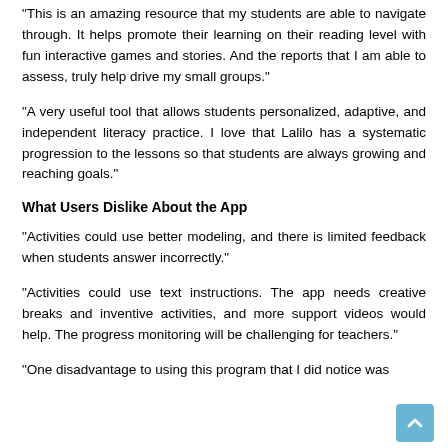“This is an amazing resource that my students are able to navigate through. It helps promote their learning on their reading level with fun interactive games and stories. And the reports that I am able to assess, truly help drive my small groups.”
“A very useful tool that allows students personalized, adaptive, and independent literacy practice. I love that Lalilo has a systematic progression to the lessons so that students are always growing and reaching goals.”
What Users Dislike About the App
“Activities could use better modeling, and there is limited feedback when students answer incorrectly.”
“Activities could use text instructions. The app needs creative breaks and inventive activities, and more support videos would help. The progress monitoring will be challenging for teachers.”
“One disadvantage to using this program that I did notice was